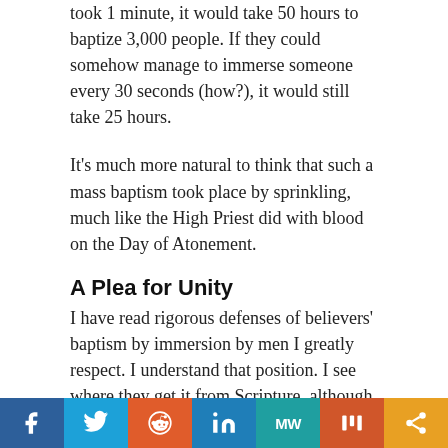took 1 minute, it would take 50 hours to baptize 3,000 people. If they could somehow manage to immerse someone every 30 seconds (how?), it would still take 25 hours.
It's much more natural to think that such a mass baptism took place by sprinkling, much like the High Priest did with blood on the Day of Atonement.
A Plea for Unity
I have read rigorous defenses of believers' baptism by immersion by men I greatly respect. I understand that position. I see where they get it from Scripture, although I disagree with their interpretation of those texts. What I really find
f  [twitter]  [reddit]  in  MW  [mix]  <